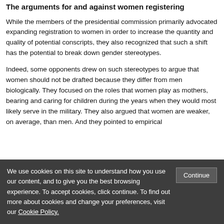The arguments for and against women registering
While the members of the presidential commission primarily advocated expanding registration to women in order to increase the quantity and quality of potential conscripts, they also recognized that such a shift has the potential to break down gender stereotypes.
Indeed, some opponents drew on such stereotypes to argue that women should not be drafted because they differ from men biologically. They focused on the roles that women play as mothers, bearing and caring for children during the years when they would most likely serve in the military. They also argued that women are weaker, on average, than men. And they pointed to empirical
We use cookies on this site to understand how you use our content, and to give you the best browsing experience. To accept cookies, click continue. To find out more about cookies and change your preferences, visit our Cookie Policy.